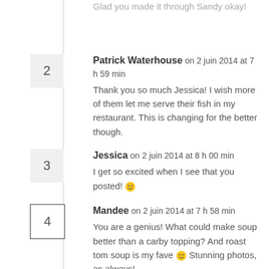Glad you made it through Sandy okay!
2 — Patrick Waterhouse on 2 juin 2014 at 7 h 59 min
Thank you so much Jessica! I wish more of them let me serve their fish in my restaurant. This is changing for the better though.
3 — Jessica on 2 juin 2014 at 8 h 00 min
I get so excited when I see that you posted! 🙂
4 — Mandee on 2 juin 2014 at 7 h 58 min
You are a genius! What could make soup better than a carby topping? And roast tom soup is my fave 🙂 Stunning photos, as always!